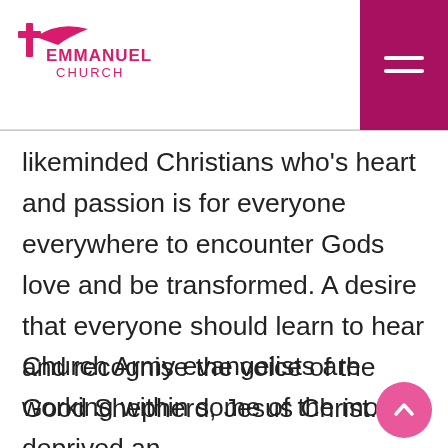Emmanuel Church
likeminded Christians who’s heart and passion is for everyone everywhere to encounter Gods love and be transformed. A desire that everyone should learn to hear and recognise the voice of the Good Shepherd, Jesus Christ.
Church Army evangelists are working within some of the most deprived and socially disadvantaged communities